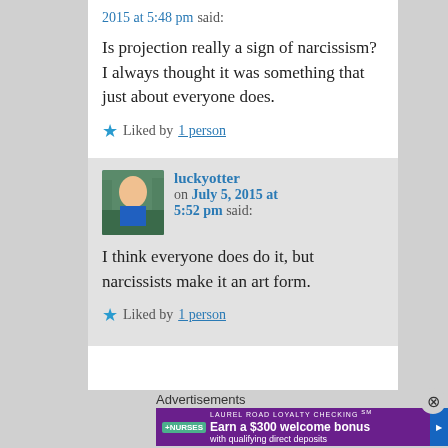2015 at 5:48 pm said:
Is projection really a sign of narcissism? I always thought it was something that just about everyone does.
★ Liked by 1 person
luckyotter on July 5, 2015 at 5:52 pm said:
I think everyone does do it, but narcissists make it an art form.
★ Liked by 1 person
Advertisements
[Figure (other): Advertisement banner for Laurel Road Loyalty Checking - Earn a $300 welcome bonus with qualifying direct deposits]